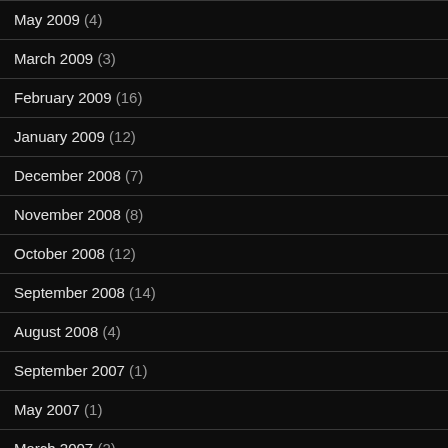May 2009 (4)
March 2009 (3)
February 2009 (16)
January 2009 (12)
December 2008 (7)
November 2008 (8)
October 2008 (12)
September 2008 (14)
August 2008 (4)
September 2007 (1)
May 2007 (1)
March 2007 (2)